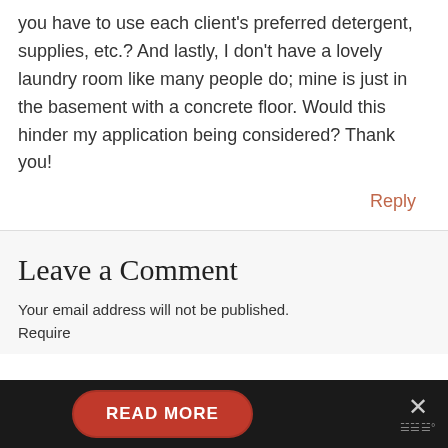pricing and not charging for pricing. Do you have to use each client's preferred detergent, supplies, etc.? And lastly, I don't have a lovely laundry room like many people do; mine is just in the basement with a concrete floor. Would this hinder my application being considered? Thank you!
Reply
Leave a Comment
Your email address will not be published. Required
[Figure (other): Dark bottom bar with a red 'READ MORE' pill button and a close (X) button with what appears to be a WordPress logo icon]